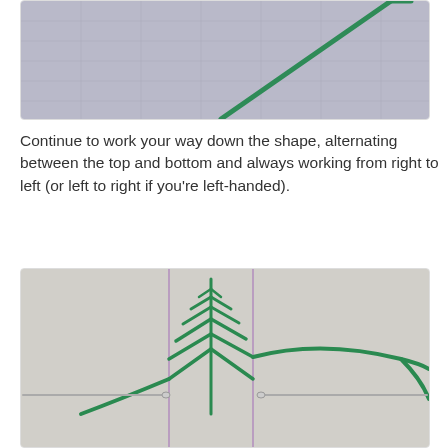[Figure (photo): Close-up photo of green embroidery thread on fabric, showing a diagonal stitch in progress]
Continue to work your way down the shape, alternating between the top and bottom and always working from right to left (or left to right if you're left-handed).
[Figure (photo): Photo of embroidery in progress on light fabric showing green thread forming a leaf/feather stitch pattern with two needles visible at bottom corners and thread trailing to the right]